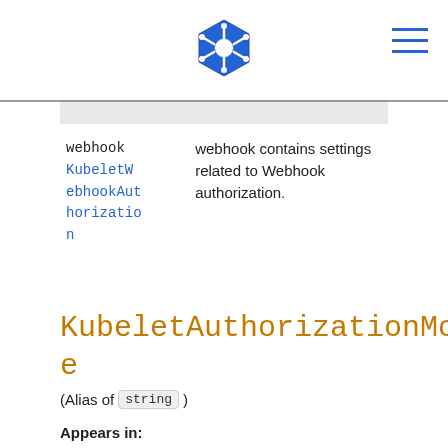[Figure (logo): Kubernetes logo (blue hexagonal ship wheel icon) centered in page header]
| webhook KubeletWebhookAuthorization | webhook contains settings related to Webhook authorization. |
KubeletAuthorizationMode
(Alias of string)
Appears in: